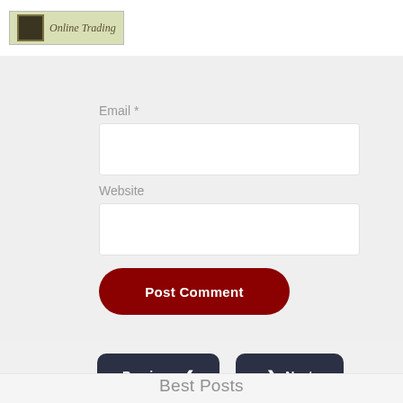[Figure (logo): Online Trading logo with gold icon and italic text on olive/tan background]
Email *
Website
Post Comment
Previous
Next
Best Posts